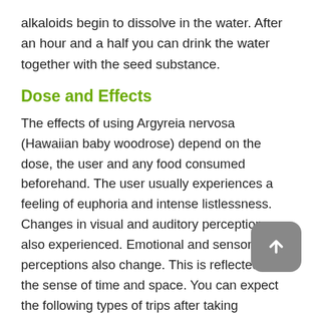alkaloids begin to dissolve in the water. After an hour and a half you can drink the water together with the seed substance.
Dose and Effects
The effects of using Argyreia nervosa (Hawaiian baby woodrose) depend on the dose, the user and any food consumed beforehand. The user usually experiences a feeling of euphoria and intense listlessness. Changes in visual and auditory perceptions are also experienced. Emotional and sensory perceptions also change. This is reflected in the sense of time and space. You can expect the following types of trips after taking Hawaiian baby woodrose:
Mild trip: 5 to 8 seeds